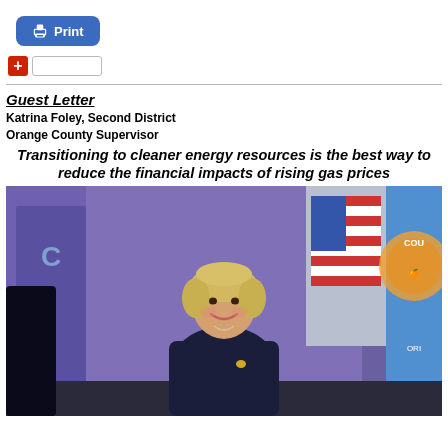[Figure (screenshot): Blue Print button with printer icon]
[Figure (screenshot): Red plus button with share input field]
Guest Letter
Katrina Foley, Second District
Orange County Supervisor
Transitioning to cleaner energy resources is the best way to reduce the financial impacts of rising gas prices
[Figure (photo): Photo of Katrina Foley smiling at a podium with flags in the background including the US flag and California county flags]